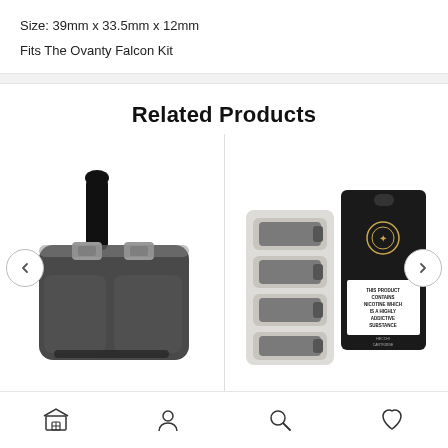Size: 39mm x 33.5mm x 12mm
Fits The Ovanty Falcon Kit
Related Products
[Figure (photo): Vape pod cartridge device with black mouthpiece and dual coil connectors, translucent dark grey body]
[Figure (photo): Pack of vape coil cartridges (blister pack with 4 coils) next to a black branded box with nicotine warning label reading 'THIS PRODUCT CONTAINS NICOTINE WHICH IS A HIGHLY ADDICTIVE SUBSTANCE']